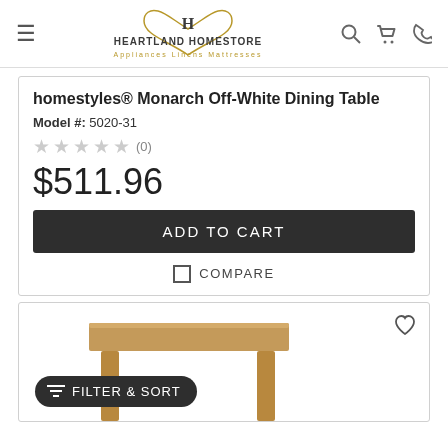[Figure (logo): Heartland Homestore logo with heart and H emblem, tagline: Appliances Linens Mattresses]
homestyles® Monarch Off-White Dining Table
Model #: 5020-31
★★★★★ (0)
$511.96
ADD TO CART
COMPARE
[Figure (photo): Wooden dining table with medium brown finish, rectangular top and four legs, partial view]